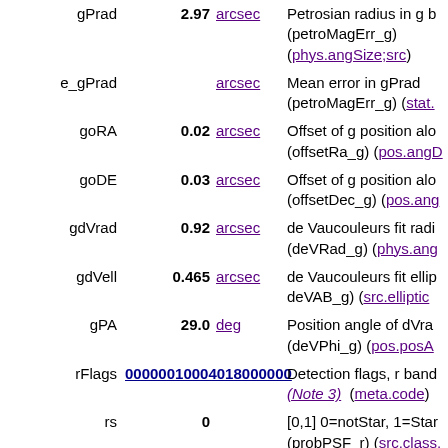| Name | Value | Unit | Description |
| --- | --- | --- | --- |
| gPrad | 2.97 | arcsec | Petrosian radius in g b... (petroMagErr_g) (phys.angSize;src) |
| e_gPrad |  | arcsec | Mean error in gPrad (petroMagErr_g) (stat....) |
| goRA | 0.02 | arcsec | Offset of g position alo... (offsetRa_g) (pos.angD...) |
| goDE | 0.03 | arcsec | Offset of g position alo... (offsetDec_g) (pos.ang...) |
| gdVrad | 0.92 | arcsec | de Vaucouleurs fit radi... (deVRad_g) (phys.ang...) |
| gdVell | 0.465 | arcsec | de Vaucouleurs fit ellip... deVAB_g) (src.elliptic...) |
| gPA | 29.0 | deg | Position angle of dVra... (deVPhi_g) (pos.posA...) |
| rFlags | 00000010004018000000 |  | Detection flags, r band (Note 3) (meta.code) |
| rs | 0 |  | [0,1] 0=notStar, 1=Star (probPSF_r) (src.class....) |
| rc | 3 |  | [0,9] Phototype in r ban... (type_r) (Note 1) (src.class.starGalaxy) |
| rDate | 2003.8090 | yr | Date of observation in... |